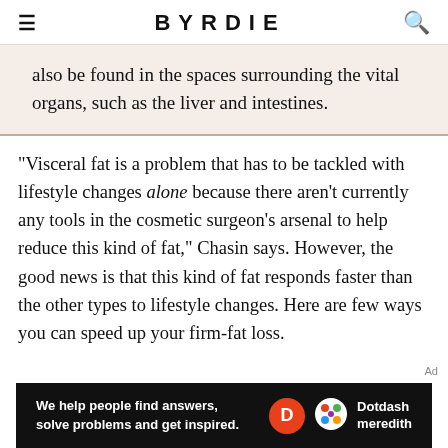BYRDIE
also be found in the spaces surrounding the vital organs, such as the liver and intestines.
"Visceral fat is a problem that has to be tackled with lifestyle changes alone because there aren't currently any tools in the cosmetic surgeon's arsenal to help reduce this kind of fat," Chasin says. However, the good news is that this kind of fat responds faster than the other types to lifestyle changes. Here are few ways you can speed up your firm-fat loss.
[Figure (other): Dotdash Meredith advertisement banner: 'We help people find answers, solve problems and get inspired.' with Dotdash Meredith logo on black background]